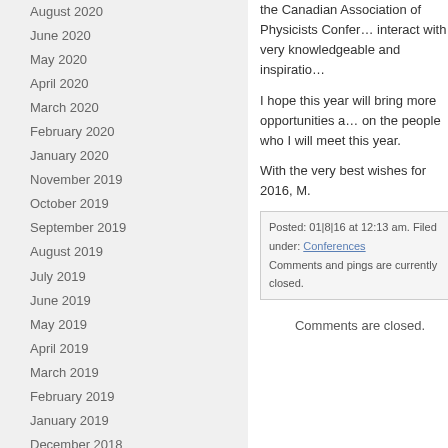August 2020
June 2020
May 2020
April 2020
March 2020
February 2020
January 2020
November 2019
October 2019
September 2019
August 2019
July 2019
June 2019
May 2019
April 2019
March 2019
February 2019
January 2019
December 2018
November 2018
October 2018
September 2018
August 2018
July 2018
the Canadian Association of Physicists Confer... interact with very knowledgeable and inspiratio...
I hope this year will bring more opportunities a... on the people who I will meet this year.
With the very best wishes for 2016, M.
Posted: 01|8|16 at 12:13 am. Filed under: Conferences. Comments and pings are currently closed.
Comments are closed.